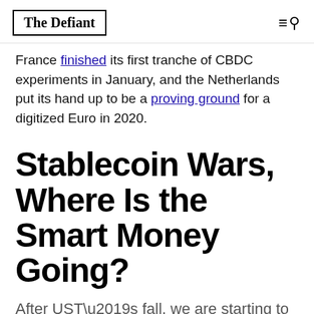The Defiant
France finished its first tranche of CBDC experiments in January, and the Netherlands put its hand up to be a proving ground for a digitized Euro in 2020.
Stablecoin Wars, Where Is the Smart Money Going?
After UST’s fall, we are starting to see a